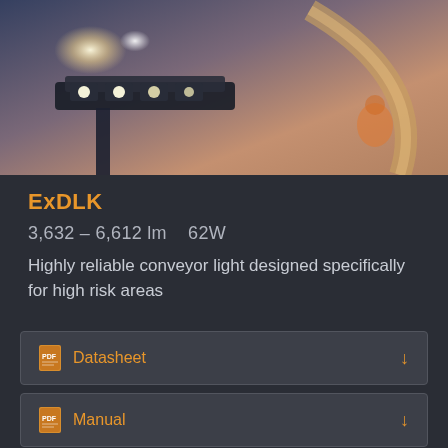[Figure (photo): Industrial conveyor LED light (ExDLK) mounted on a pole, glowing brightly against a dusk sky, with an orange arc-shaped structure visible in the background]
ExDLK
3,632 – 6,612 lm   62W
Highly reliable conveyor light designed specifically for high risk areas
Datasheet
Manual
3D Model
[Figure (photo): Close-up partial image of a dark industrial lighting fixture]